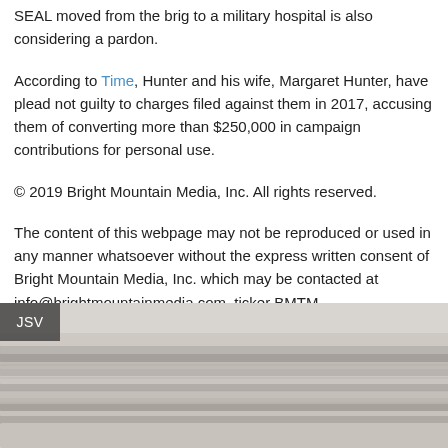SEAL moved from the brig to a military hospital is also considering a pardon.
According to Time, Hunter and his wife, Margaret Hunter, have plead not guilty to charges filed against them in 2017, accusing them of converting more than $250,000 in campaign contributions for personal use.
© 2019 Bright Mountain Media, Inc. All rights reserved.
The content of this webpage may not be reproduced or used in any manner whatsoever without the express written consent of Bright Mountain Media, Inc. which may be contacted at info@brightmountainmedia.com, ticker BMTM.
[Figure (photo): Stack of folded newspapers photographed from the side, with a dark overlay label reading 'JSV' in the top-left corner.]